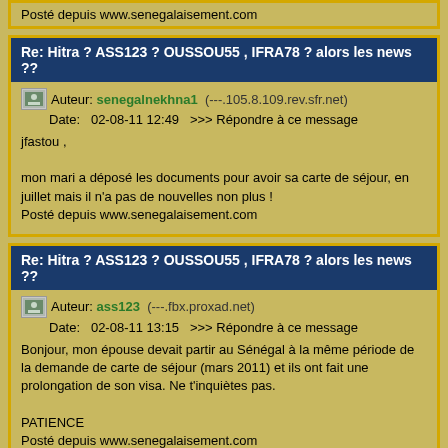Posté depuis www.senegalaisement.com
Re: Hitra ? ASS123 ? OUSSOU55 , IFRA78 ? alors les news ??
Auteur: senegalnekhna1  (---.105.8.109.rev.sfr.net)
Date:   02-08-11 12:49   >>> Répondre à ce message
jfastou ,

mon mari a déposé les documents pour avoir sa carte de séjour, en juillet mais il n'a pas de nouvelles non plus !
Posté depuis www.senegalaisement.com
Re: Hitra ? ASS123 ? OUSSOU55 , IFRA78 ? alors les news ??
Auteur: ass123  (---.fbx.proxad.net)
Date:   02-08-11 13:15   >>> Répondre à ce message
Bonjour, mon épouse devait partir au Sénégal à la même période de la demande de carte de séjour (mars 2011) et ils ont fait une prolongation de son visa. Ne t'inquiètes pas.

PATIENCE
Posté depuis www.senegalaisement.com
Re: Hitra ? ASS123 ? OUSSOU55 , IFRA78 ? alors les news ??
Auteur: lamsab  (---.fbx.proxad.net)
Date:   17-09-11 15:35   >>> Répondre à ce message